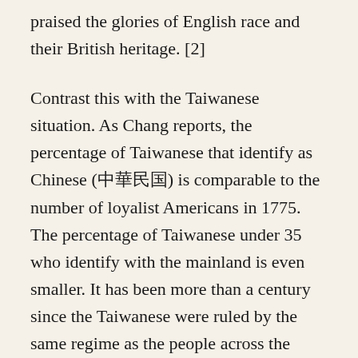praised the glories of English race and their British heritage. [2]
Contrast this with the Taiwanese situation. As Chang reports, the percentage of Taiwanese that identify as Chinese (中華民國) is comparable to the number of loyalist Americans in 1775. The percentage of Taiwanese under 35 who identify with the mainland is even smaller. It has been more than a century since the Taiwanese were ruled by the same regime as the people across the strait. Among other things, this is important because—as the generation of reformers and intellectuals that came to power in the early 1900s recognized—national identity and cohesion was extremely weak under the Qing. A strong sense of shared Chinese identity had to be built from the ground up. Built it was, but the Tai...